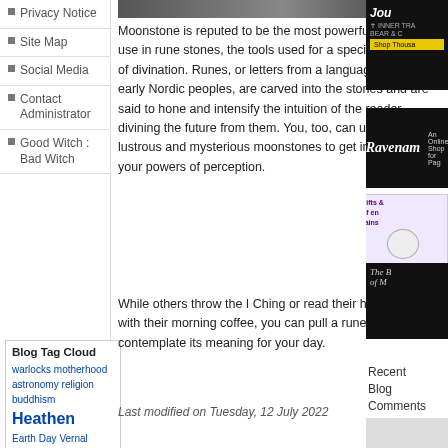Privacy Notice
Site Map
Social Media
Contact Administrator
Good Witch : Bad Witch
Moonstone is reputed to be the most powerful crystal for use in rune stones, the tools used for a specialized form of divination. Runes, or letters from a language used by early Nordic peoples, are carved into the stones and are said to hone and intensify the intuition of the reader divining the future from them. You, too, can use a bag of lustrous and mysterious moonstones to get in touch with your powers of perception.
While others throw the I Ching or read their horoscopes with their morning coffee, you can pull a rune and contemplate its meaning for your day.
Blog Tag Cloud
warlocks
motherhood
astronomy
religion
buddhism
Heathen
Earth Day
Vernal Equinox
Last modified on Tuesday, 12 July 2022
0 Comments
Tweet
[Figure (other): Right sidebar advertisements including Journaling ad, Ravenam online shop, gifts and energy shop, and The Book of something]
Recent Blog Comments